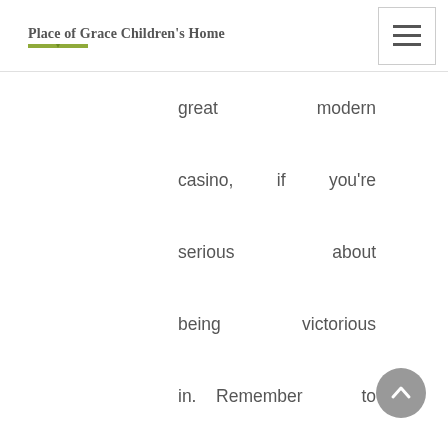Place of Grace Children's Home
great modern casino, if you're serious about being victorious in. Remember to read through our unbiased guide of Clay surfaces Internet poker Poker chips and produce your ultimate willpower. But the advent of the